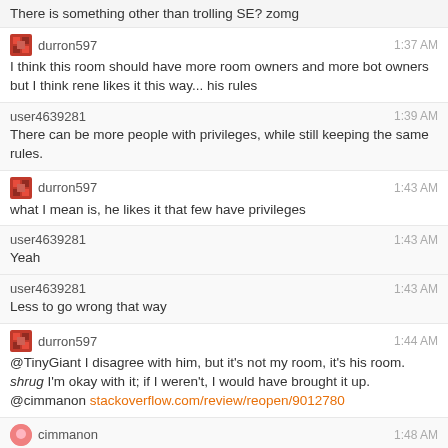There is something other than trolling SE? zomg
durron597 1:37 AM
I think this room should have more room owners and more bot owners but I think rene likes it this way... his rules
user4639281 1:39 AM
There can be more people with privileges, while still keeping the same rules.
durron597 1:43 AM
what I mean is, he likes it that few have privileges
user4639281 1:43 AM
Yeah
user4639281 1:43 AM
Less to go wrong that way
durron597 1:44 AM
@TinyGiant I disagree with him, but it's not my room, it's his room. shrug I'm okay with it; if I weren't, I would have brought it up.
@cimmanon stackoverflow.com/review/reopen/9012780
cimmanon 1:48 AM
@durron597 :D
user4639281 1:49 AM
HaveNoDisplayName voted to reopen, but no one else in the review queue will see it. Unless 4 random schmucks comes along and vote to reopen, it should be good.